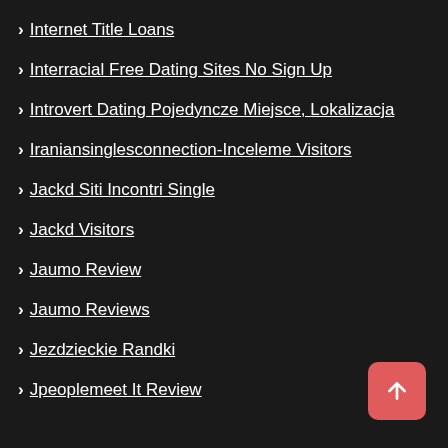Internet Title Loans
Interracial Free Dating Sites No Sign Up
Introvert Dating Pojedyncze Miejsce, Lokalizacja
Iraniansinglesconnection-Inceleme Visitors
Jackd Siti Incontri Single
Jackd Visitors
Jaumo Review
Jaumo Reviews
Jezdzieckie Randki
Jpeoplemeet It Review